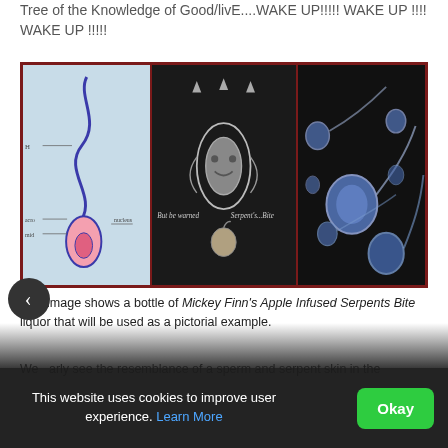Tree of the Knowledge of Good/livE....WAKE UP!!!!! WAKE UP !!!! WAKE UP !!!!!
[Figure (photo): Three-panel composite image: left panel shows a sperm cell diagram on light blue background; center panel shows a dark background with ornate metallic serpent/apple symbol with text 'But be warned Serpent's...Bite'; right panel shows microscopic image of sperm cells on black background.]
This image shows a bottle of Mickey Finn's Apple Infused Serpents Bite liquor that will be used as a pictorial example.
We...arly see the resemblance of a sperm and serpent skin in the
This website uses cookies to improve user experience. Learn More